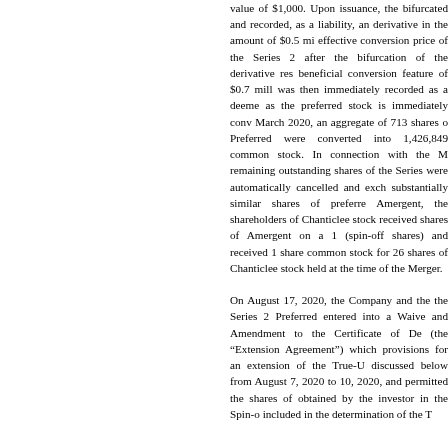value of $1,000. Upon issuance, the bifurcated and recorded, as a liability, an derivative in the amount of $0.5 mi effective conversion price of the Series 2 after the bifurcation of the derivative res beneficial conversion feature of $0.7 mill was then immediately recorded as a deeme as the preferred stock is immediately conv March 2020, an aggregate of 713 shares o Preferred were converted into 1,426,849 common stock. In connection with the M remaining outstanding shares of the Series were automatically cancelled and exch substantially similar shares of preferre Amergent, the shareholders of Chanticlee stock received shares of Amergent on a 1 (spin-off shares) and received 1 share common stock for 26 shares of Chanticlee stock held at the time of the Merger.

On August 17, 2020, the Company and the the Series 2 Preferred entered into a Waive and Amendment to the Certificate of De (the "Extension Agreement") which provisions for an extension of the True-U discussed below from August 7, 2020 to 10, 2020, and permitted the shares of obtained by the investor in the Spin-o included in the determination of the T...